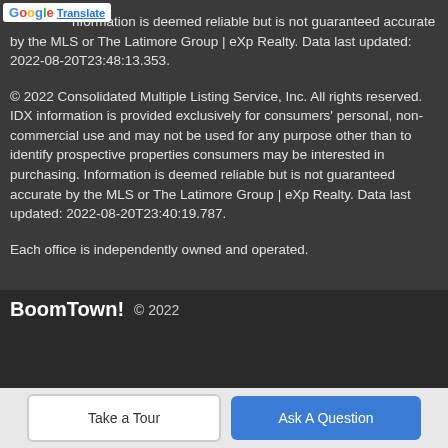...information is deemed reliable but is not guaranteed accurate by the MLS or The Latimore Group | eXp Realty. Data last updated: 2022-08-20T23:48:13.353.
© 2022 Consolidated Multiple Listing Service, Inc. All rights reserved. IDX information is provided exclusively for consumers' personal, non-commercial use and may not be used for any purpose other than to identify prospective properties consumers may be interested in purchasing. Information is deemed reliable but is not guaranteed accurate by the MLS or The Latimore Group | eXp Realty. Data last updated: 2022-08-20T23:40:19.787.
Each office is independently owned and operated.
BoomTown! © 2022 | Terms of Use | Privacy Policy | Accessibility | DMCA | Listings Sitemap
Take a Tour | Ask A Question